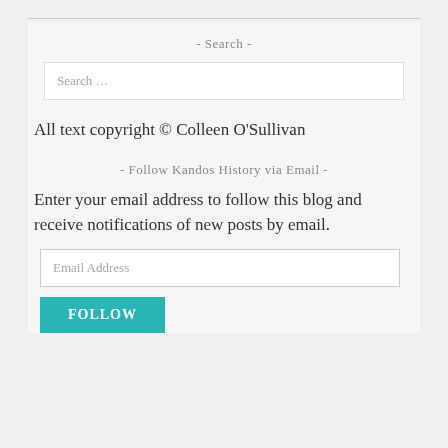- Search -
Search …
All text copyright © Colleen O'Sullivan
- Follow Kandos History via Email -
Enter your email address to follow this blog and receive notifications of new posts by email.
Email Address
FOLLOW